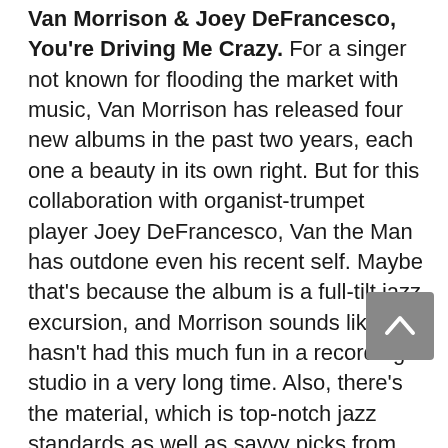Van Morrison & Joey DeFrancesco, You're Driving Me Crazy. For a singer not known for flooding the market with music, Van Morrison has released four new albums in the past two years, each one a beauty in its own right. But for this collaboration with organist-trumpet player Joey DeFrancesco, Van the Man has outdone even his recent self. Maybe that's because the album is a full-tilt jazz excursion, and Morrison sounds like he hasn't had this much fun in a recording studio in a very long time. Also, there's the material, which is top-notch jazz standards as well as savvy picks from Morrison's own originals, ranging from Cole Porter's "Miss Otis Regrets" to the singer's "Celtic Swing." [M...] feels like he's